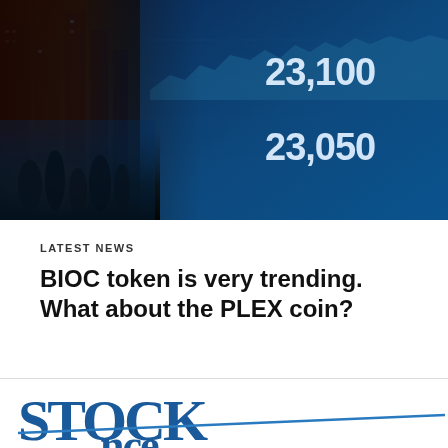[Figure (photo): Photo of a city street with a large blue LED stock market ticker board showing numbers 23,100 and 23,050, with crowd of people in foreground and warm orange lighting on the left side]
LATEST NEWS
BIOC token is very trending. What about the PLEX coin?
[Figure (logo): Partial logo text reading 'STOCK' in large dark blue serif letters with a blue diagonal underline stroke, and partial second line below]